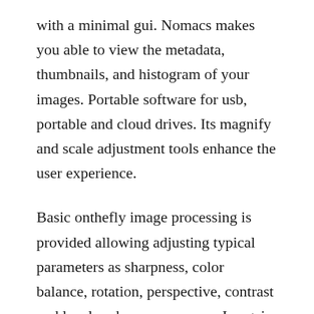with a minimal gui. Nomacs makes you able to view the metadata, thumbnails, and histogram of your images. Portable software for usb, portable and cloud drives. Its magnify and scale adjustment tools enhance the user experience.
Basic onthefly image processing is provided allowing adjusting typical parameters as sharpness, color balance, rotation, perspective, contrast and local underoverexposure. Imagej is highly extensible, with thousands of plugins and scripts for performing a wide variety of